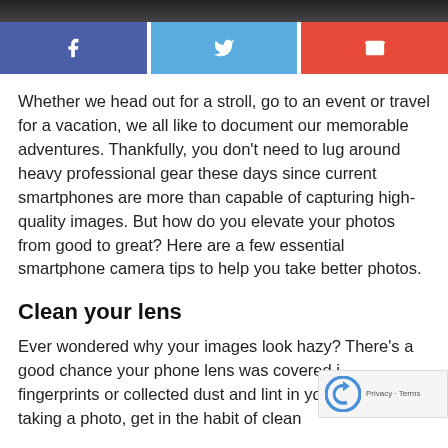[Figure (photo): Top portion of an image, dark strip visible at the top of the page]
[Figure (infographic): Social sharing buttons: Facebook (blue-purple), Twitter (light blue), Email (red)]
Whether we head out for a stroll, go to an event or travel for a vacation, we all like to document our memorable adventures. Thankfully, you don't need to lug around heavy professional gear these days since current smartphones are more than capable of capturing high-quality images. But how do you elevate your photos from good to great? Here are a few essential smartphone camera tips to help you take better photos.
Clean your lens
Ever wondered why your images look hazy? There's a good chance your phone lens was covered in fingerprints or collected dust and lint in your po... Before taking a photo, get in the habit of clean...